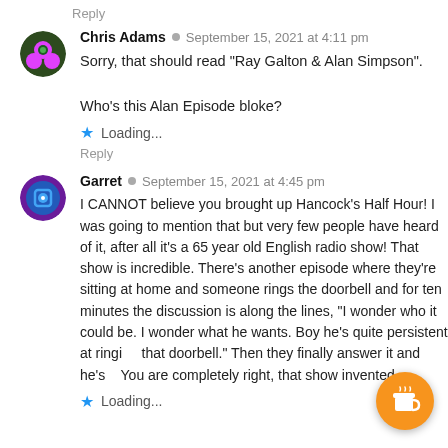Reply
Chris Adams · September 15, 2021 at 4:11 pm
Sorry, that should read "Ray Galton & Alan Simpson".

Who's this Alan Episode bloke?

Loading...
Reply
Garret · September 15, 2021 at 4:45 pm
I CANNOT believe you brought up Hancock's Half Hour! I was going to mention that but very few people have heard of it, after all it's a 65 year old English radio show! That show is incredible. There's another episode where they're sitting at home and someone rings the doorbell and for ten minutes the discussion is along the lines, "I wonder who it could be. I wonder what he wants. Boy he's quite persistent at ringing that doorbell." Then they finally answer it and he's... You are completely right, that show invented...
Loading...